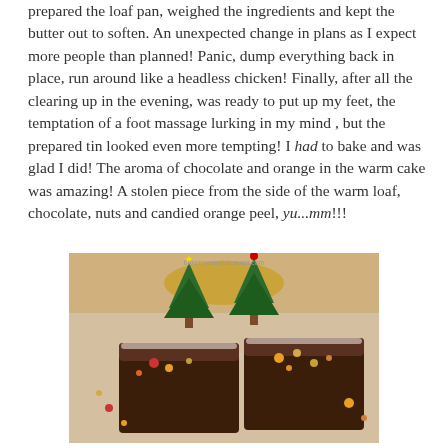prepared the loaf pan, weighed the ingredients and kept the butter out to soften. An unexpected change in plans as I expect more people than planned! Panic, dump everything back in place, run around like a headless chicken! Finally, after all the clearing up in the evening, was ready to put up my feet, the temptation of a foot massage lurking in my mind , but the prepared tin looked even more tempting! I had to bake and was glad I did! The aroma of chocolate and orange in the warm cake was amazing! A stolen piece from the side of the warm loaf, chocolate, nuts and candied orange peel, yu...mm!!!
[Figure (photo): Two square slices of chocolate loaf cake dusted with powdered sugar and topped with candied orange peel, nuts, and dried fruits, tied with a ribbon, with miniature Christmas tree decorations on top, placed on a wooden board.]